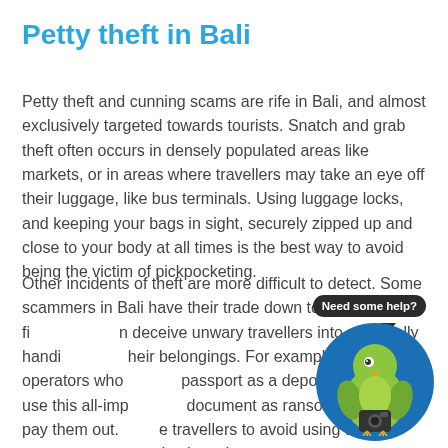Petty theft in Bali
Petty theft and cunning scams are rife in Bali, and almost exclusively targeted towards tourists. Snatch and grab theft often occurs in densely populated areas like markets, or in areas where travellers may take an eye off their luggage, like bus terminals. Using luggage locks, and keeping your bags in sight, securely zipped up and close to your body at all times is the best way to avoid being the victim of pickpocketing.
Other incidents of theft are more difficult to detect. Some scammers in Bali have their trade down to a fine art and deceive unwary travellers into practically handing over their belongings. For example, tour operators who hold your passport as a deposit can then use this all-important document as ransom before you pay them out. We advise travellers to avoid using their passport as a security deposit
[Figure (illustration): A chat widget showing a green parrot mascot in a blue circle with a speech bubble saying 'Need some help?']